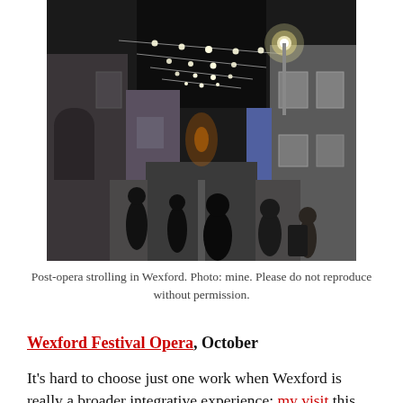[Figure (photo): Night photograph of a narrow European street with string lights overhead. Several people in dark clothing walk along the cobblestone lane, flanked by old terraced buildings. A bright street lamp glows in the distance.]
Post-opera strolling in Wexford. Photo: mine. Please do not reproduce without permission.
Wexford Festival Opera, October
It's hard to choose just one work when Wexford is really a broader integrative experience; my visit this